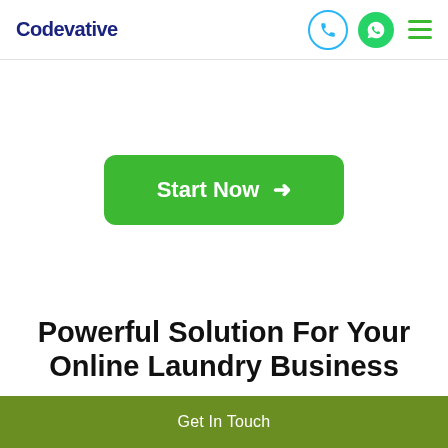Codevative
[Figure (other): Green 'Start Now →' button centered on white background]
Powerful Solution For Your Online Laundry Business
Get In Touch